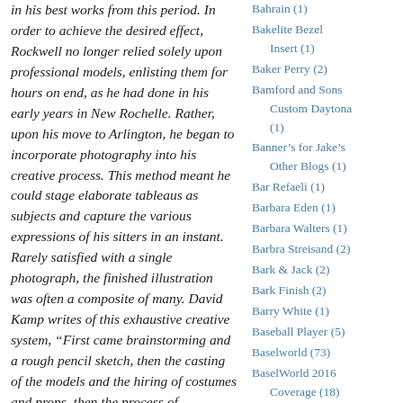in his best works from this period. In order to achieve the desired effect, Rockwell no longer relied solely upon professional models, enlisting them for hours on end, as he had done in his early years in New Rochelle. Rather, upon his move to Arlington, he began to incorporate photography into his creative process. This method meant he could stage elaborate tableaus as subjects and capture the various expressions of his sitters in an instant. Rarely satisfied with a single photograph, the finished illustration was often a composite of many. David Kamp writes of this exhaustive creative system, “First came brainstorming and a rough pencil sketch, then the casting of the models and the hiring of costumes and props, then the process of
Bahrain (1)
Bakelite Bezel Insert (1)
Baker Perry (2)
Bamford and Sons Custom Daytona (1)
Banner’s for Jake’s Other Blogs (1)
Bar Refaeli (1)
Barbara Eden (1)
Barbara Walters (1)
Barbra Streisand (2)
Bark & Jack (2)
Bark Finish (2)
Barry White (1)
Baseball Player (5)
Baselworld (73)
BaselWorld 2016 Coverage (18)
BaselWorld 2017